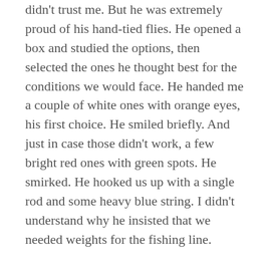didn't trust me. But he was extremely proud of his hand-tied flies. He opened a box and studied the options, then selected the ones he thought best for the conditions we would face. He handed me a couple of white ones with orange eyes, his first choice. He smiled briefly. And just in case those didn't work, a few bright red ones with green spots. He smirked. He hooked us up with a single rod and some heavy blue string. I didn't understand why he insisted that we needed weights for the fishing line.
I had been trout fishing several times in Colorado and British Columbia, and I never needed weights. Trout fishing had always resembled scenes from the movie A River Runs Through It. I was no Brad